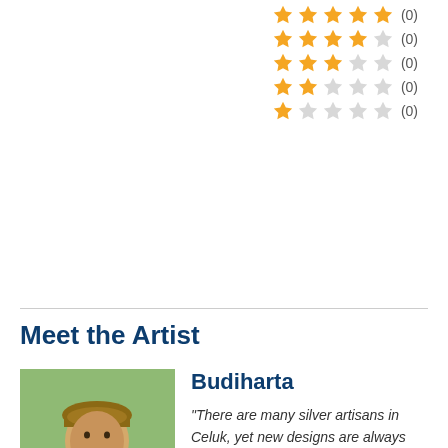[Figure (other): Star rating rows: 5-star (0), 4-star (0), 3-star (0), 2-star (0), 1-star (0)]
Meet the Artist
[Figure (photo): Portrait photo of Budiharta, a Balinese man wearing traditional head covering and white shirt, smiling]
Budiharta
"There are many silver artisans in Celuk, yet new designs are always appearing; it's because Celuk silver artisans never stop learning new things in design."
"I was born in 1992 in Celuk in